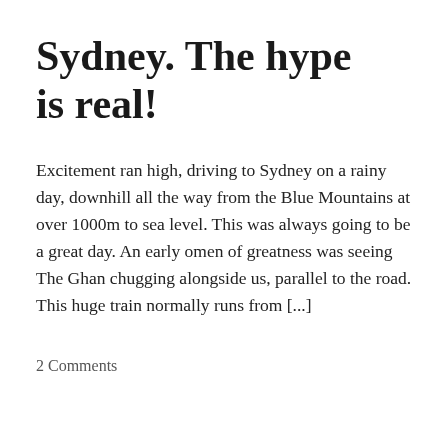Sydney. The hype is real!
Excitement ran high, driving to Sydney on a rainy day, downhill all the way from the Blue Mountains at over 1000m to sea level. This was always going to be a great day. An early omen of greatness was seeing The Ghan chugging alongside us, parallel to the road. This huge train normally runs from [...]
2 Comments